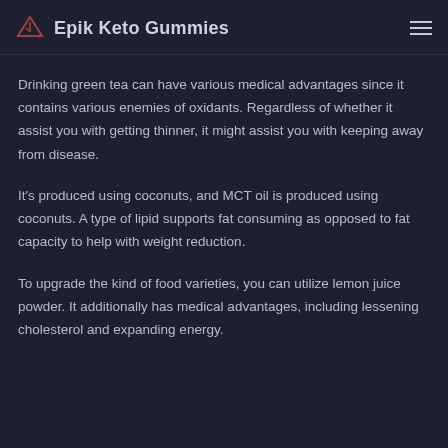Epik Keto Gummies
Drinking green tea can have various medical advantages since it contains various enemies of oxidants. Regardless of whether it assist you with getting thinner, it might assist you with keeping away from disease.
It's produced using coconuts, and MCT oil is produced using coconuts. A type of lipid supports fat consuming as opposed to fat capacity to help with weight reduction.
To upgrade the kind of food varieties, you can utilize lemon juice powder. It additionally has medical advantages, including lessening cholesterol and expanding energy.